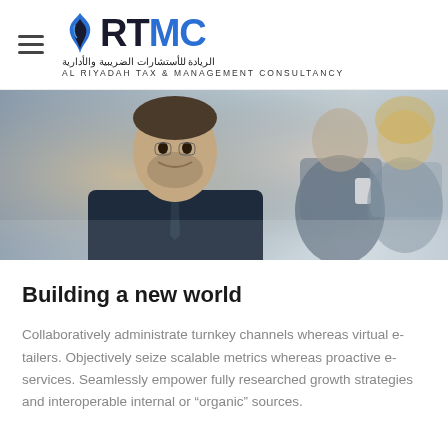[Figure (logo): RTMC logo with Arabic text 'الريادة للأستشارات الضريبية والأدارية' and English text 'AL RIYADAH TAX & MANAGEMENT CONSULTANCY', with hamburger menu icon on the left]
[Figure (photo): Business professionals in suits, smiling man in foreground with dark tie, blurred colleagues in background]
Building a new world
Collaboratively administrate turnkey channels whereas virtual e-tailers. Objectively seize scalable metrics whereas proactive e-services. Seamlessly empower fully researched growth strategies and interoperable internal or "organic" sources.